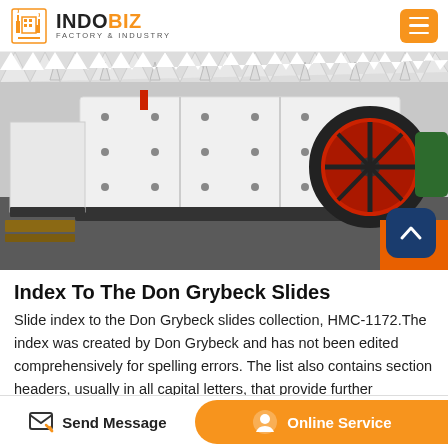INDOBIZ FACTORY & INDUSTRY
[Figure (photo): Industrial jaw crusher machine, white/cream colored with large red and black flywheels, shot in an outdoor factory yard setting]
Index To The Don Grybeck Slides
Slide index to the Don Grybeck slides collection, HMC-1172.The index was created by Don Grybeck and has not been edited comprehensively for spelling errors. The list also contains section headers, usually in all capital letters, that provide further
Send Message   Online Service